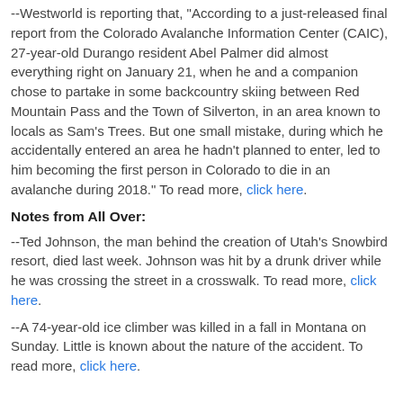--Westworld is reporting that, "According to a just-released final report from the Colorado Avalanche Information Center (CAIC), 27-year-old Durango resident Abel Palmer did almost everything right on January 21, when he and a companion chose to partake in some backcountry skiing between Red Mountain Pass and the Town of Silverton, in an area known to locals as Sam's Trees. But one small mistake, during which he accidentally entered an area he hadn't planned to enter, led to him becoming the first person in Colorado to die in an avalanche during 2018." To read more, click here.
Notes from All Over:
--Ted Johnson, the man behind the creation of Utah's Snowbird resort, died last week. Johnson was hit by a drunk driver while he was crossing the street in a crosswalk. To read more, click here.
--A 74-year-old ice climber was killed in a fall in Montana on Sunday. Little is known about the nature of the accident. To read more, click here.